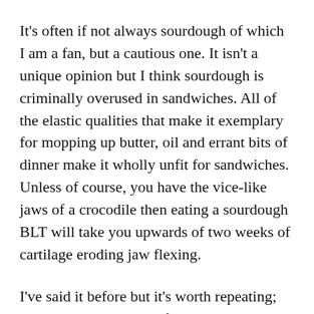It's often if not always sourdough of which I am a fan, but a cautious one. It isn't a unique opinion but I think sourdough is criminally overused in sandwiches. All of the elastic qualities that make it exemplary for mopping up butter, oil and errant bits of dinner make it wholly unfit for sandwiches. Unless of course, you have the vice-like jaws of a crocodile then eating a sourdough BLT will take you upwards of two weeks of cartilage eroding jaw flexing.
I've said it before but it's worth repeating; butter is the grammar of deliciousness. It gives all tasty things form. Proper butter, the kind that I see when I close my eyes, sits in a goldilocks state